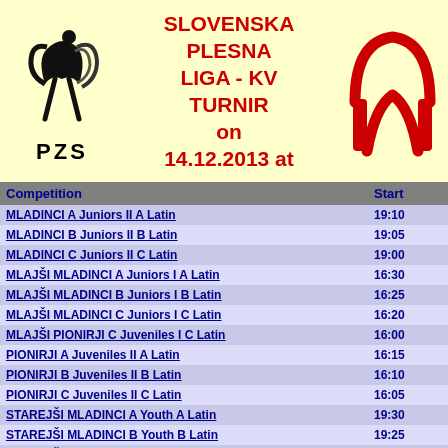[Figure (logo): PZS dance federation logo - black figures dancing with arcs, text PZS below]
SLOVENSKA PLESNA LIGA - KV TURNIR on 14.12.2013 at
[Figure (logo): Red letter M logo in a circle/arch shape]
| Competition | Start |
| --- | --- |
| MLADINCI A Juniors II A Latin | 19:10 |
| MLADINCI B Juniors II B Latin | 19:05 |
| MLADINCI C Juniors II C Latin | 19:00 |
| MLAJŠI MLADINCI A Juniors I A Latin | 16:30 |
| MLAJŠI MLADINCI B Juniors I B Latin | 16:25 |
| MLAJŠI MLADINCI C Juniors I C Latin | 16:20 |
| MLAJŠI PIONIRJI C Juveniles I C Latin | 16:00 |
| PIONIRJI A Juveniles II A Latin | 16:15 |
| PIONIRJI B Juveniles II B Latin | 16:10 |
| PIONIRJI C Juveniles II C Latin | 16:05 |
| STAREJŠI MLADINCI A Youth A Latin | 19:30 |
| STAREJŠI MLADINCI B Youth B Latin | 19:25 |
| STAREJŠI MLADINCI D2 Youth D Latin | 19:20 |